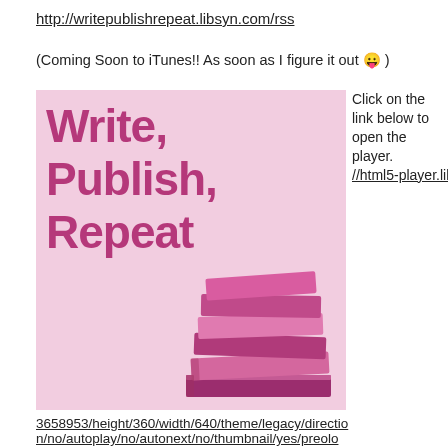http://writepublishrepeat.libsyn.com/rss
(Coming Soon to iTunes!! As soon as I figure it out 😛 )
[Figure (illustration): Write, Publish, Repeat podcast cover image showing pink background with text 'Write, Publish, Repeat' in bold dark pink/magenta font and a stack of pink/purple books on the right side.]
Click on the link below to open the player. //html5-player.libsyn.com/embed/episode/id/3658953/height/360/width/640/theme/legacy/direction/no/autoplay/no/autonext/no/thumbnail/yes/preload/no/no_addthis/no/
3658953/height/360/width/640/theme/legacy/directio n/no/autoplay/no/autonext/no/thumbnail/yes/preolo